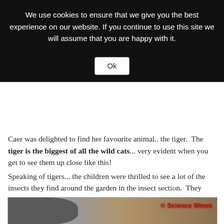We use cookies to ensure that we give you the best experience on our website. If you continue to use this site we will assume that you are happy with it.
Ok
Caer was delighted to find her favourite animal.. the tiger.  The tiger is the biggest of all the wild cats... very evident when you get to see them up close like this!
Speaking of tigers... the children were thrilled to see a lot of the insects they find around the garden in the insect section.  They were quick to spot the Tiger Moth, that we posted in a previous blog, and this time they got to see the beautiful orange back wings.
[Figure (photo): Photo showing an animal (appears to be a large mammal like a camel or similar) on the left side, with a display case or window on the right side. A red copyright watermark reads '© Science Wows' in the top right of the photo.]